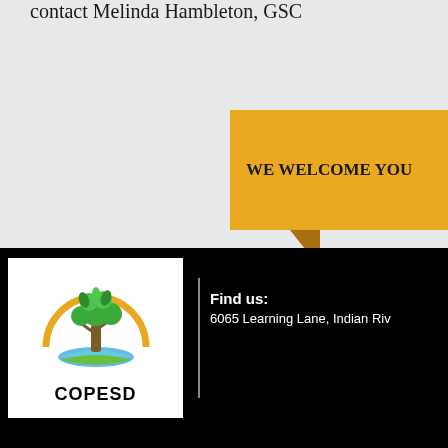contact Melinda Hambleton, GSC
[Figure (infographic): Gold/yellow ribbon banner shape with text 'WE WELCOME YOU' on a light gray background]
[Figure (logo): COPESD logo: tree with green leaves and blue/green open book at base, surrounded by a gold sunrise arc, with text COPESD below]
Find us:
6065 Learning Lane, Indian Riv